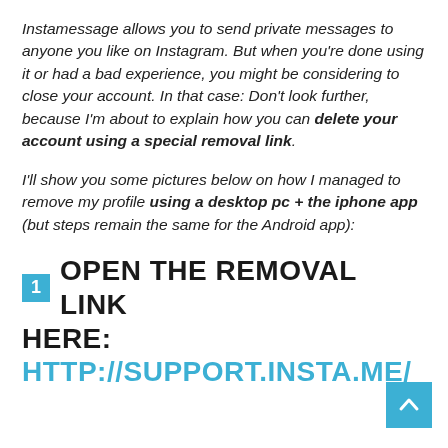Instamessage allows you to send private messages to anyone you like on Instagram. But when you’re done using it or had a bad experience, you might be considering to close your account. In that case: Don’t look further, because I’m about to explain how you can delete your account using a special removal link.
I’ll show you some pictures below on how I managed to remove my profile using a desktop pc + the iphone app (but steps remain the same for the Android app):
1 OPEN THE REMOVAL LINK HERE: HTTP://SUPPORT.INSTA.ME/